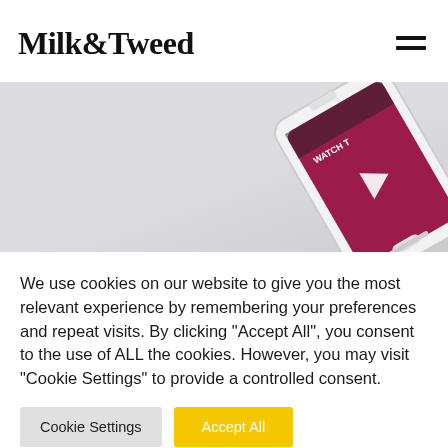Milk&Tweed
[Figure (screenshot): Hero image showing a smartphone with a video thumbnail (dark maroon/wine color with play button and text 'WATCH T...'), placed on a light gray surface, cropped at upper right corner.]
We use cookies on our website to give you the most relevant experience by remembering your preferences and repeat visits. By clicking "Accept All", you consent to the use of ALL the cookies. However, you may visit "Cookie Settings" to provide a controlled consent.